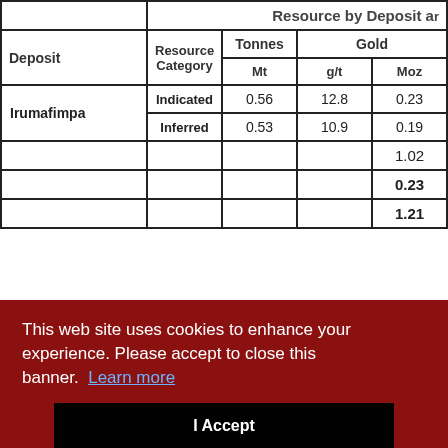| Deposit | Resource Category | Mt | g/t | Moz |
| --- | --- | --- | --- | --- |
| Irumafimpa | Indicated | 0.56 | 12.8 | 0.23 |
| Irumafimpa | Inferred | 0.53 | 10.9 | 0.19 |
|  |  |  |  | 1.02 |
|  |  |  |  | 0.23 |
|  |  |  |  | 1.21 |
This web site uses cookies to enhance your experience. Please accept to close this banner. Learn more
grade ... ct the order of accuracy of the estimate. Minor variations may